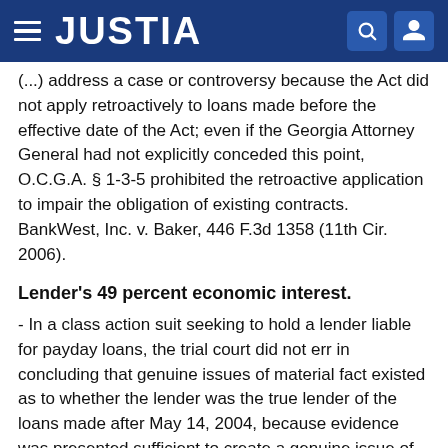JUSTIA
(...) address a case or controversy because the Act did not apply retroactively to loans made before the effective date of the Act; even if the Georgia Attorney General had not explicitly conceded this point, O.C.G.A. § 1-3-5 prohibited the retroactive application to impair the obligation of existing contracts. BankWest, Inc. v. Baker, 446 F.3d 1358 (11th Cir. 2006).
Lender's 49 percent economic interest.
- In a class action suit seeking to hold a lender liable for payday loans, the trial court did not err in concluding that genuine issues of material fact existed as to whether the lender was the true lender of the loans made after May 14, 2004, because evidence was presented sufficient to create a genuine issue of material fact regarding whether the lender actually